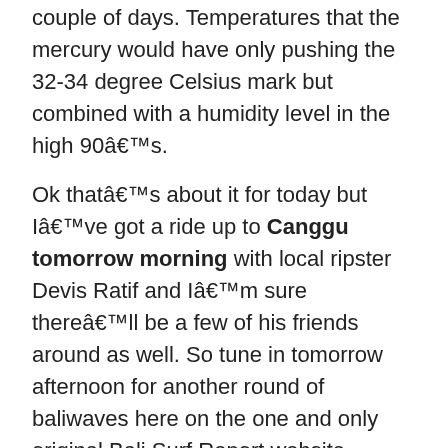couple of days. Temperatures that the mercury would have only pushing the 32-34 degree Celsius mark but combined with a humidity level in the high 90â€™s.
Ok thatâ€™s about it for today but Iâ€™ve got a ride up to Canggu tomorrow morning with local ripster Devis Ratif and Iâ€™m sure thereâ€™ll be a few of his friends around as well. So tune in tomorrow afternoon for another round of baliwaves here on the one and only original Bali Surf Report website.
I also just wanna refresh yaâ€™s about what baliwaves.com is all about. Weâ€™re not trying to flog yaâ€™s surf trips or sell yaâ€™s anything for that matter, weâ€™re just trying to show yaâ€™s how good it is here in Bali / Indonesia for a surfing holiday. We want you guys to come over and have a ball and then go back home and tell your friends how good it is.